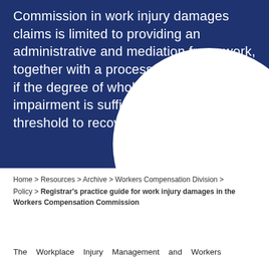Commission in work injury damages claims is limited to providing an administrative and mediation framework, together with a process for determining if the degree of whole permanent impairment is sufficient to meet the threshold to recover damages.
Home > Resources > Archive > Workers Compensation Division > Policy > Registrar's practice guide for work injury damages in the Workers Compensation Commission
The Workplace Injury Management and Workers